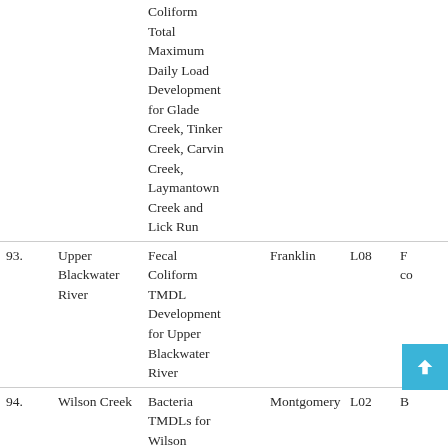| # | Water Body | Description | County | Code |  |
| --- | --- | --- | --- | --- | --- |
|  |  | Coliform Total Maximum Daily Load Development for Glade Creek, Tinker Creek, Carvin Creek, Laymantown Creek and Lick Run |  |  |  |
| 93. | Upper Blackwater River | Fecal Coliform TMDL Development for Upper Blackwater River | Franklin | L08 | F co |
| 94. | Wilson Creek | Bacteria TMDLs for Wilson Creek, Ore | Montgomery | L02 | B |